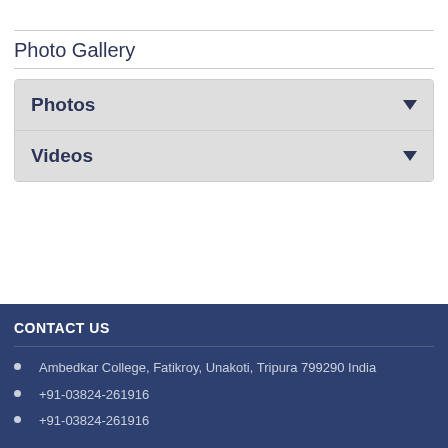Photo Gallery
Photos
Videos
CONTACT US
Ambedkar College, Fatikroy, Unakoti, Tripura 799290 India
+91-03824-261916
+91-03824-261916